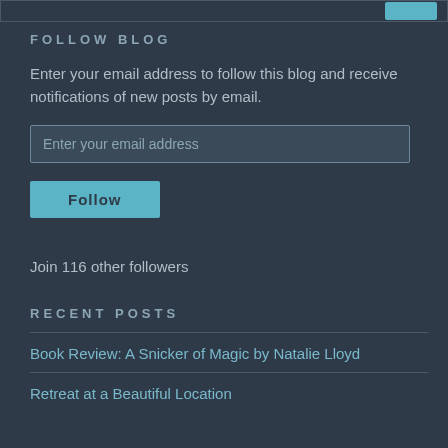FOLLOW BLOG
Enter your email address to follow this blog and receive notifications of new posts by email.
Enter your email address
Follow
Join 116 other followers
RECENT POSTS
Book Review: A Snicker of Magic by Natalie Lloyd
Retreat at a Beautiful Location